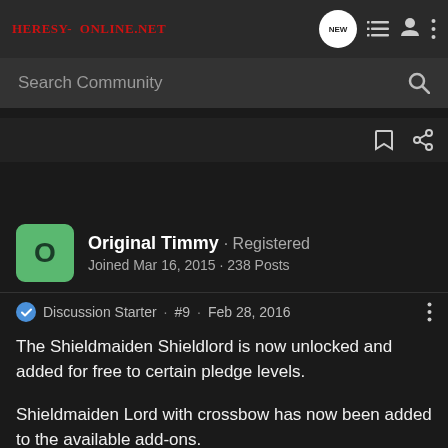Heresy-Online.net
Search Community
Original Timmy · Registered
Joined Mar 16, 2015 · 238 Posts
Discussion Starter · #9 · Feb 28, 2016
The Shieldmaiden Shieldlord is now unlocked and added for free to certain pledge levels.

Shieldmaiden Lord with crossbow has now been added to the available add-ons.